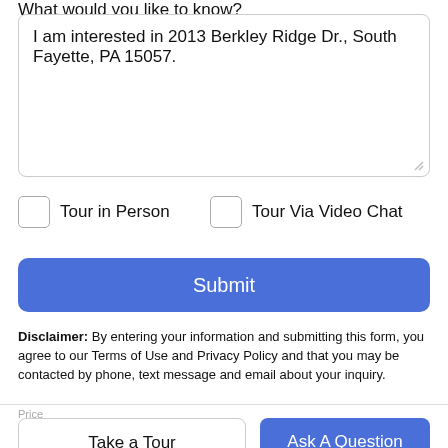What would you like to know?
I am interested in 2013 Berkley Ridge Dr., South Fayette, PA 15057.
Tour in Person
Tour Via Video Chat
Submit
Disclaimer: By entering your information and submitting this form, you agree to our Terms of Use and Privacy Policy and that you may be contacted by phone, text message and email about your inquiry.
Take a Tour
Ask A Question